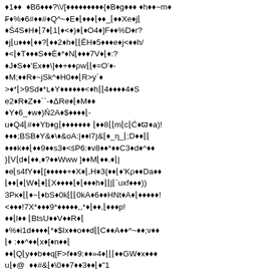♦1♦♦  ♦B6♦♦♦?\/[♦♦♦♦♦♦♦♦♦{♦B♦g♦♦♦ ♦h♦♦~m♦
₣♦%♦6#♦♦#♦Q^~♦E♦⌊♦♦♦⌊♦♦_⌊♦♦Xe♦j⌊
♦Ś4S♦H♦⌊7♦⌊1⌊♦<♦)♦⌊♦O4♦]F♦♦%D♦r?
♦j⌊u♦♦♦⌊♦♦?⌊♦♦2♦h♦⌊⌊ĔH♦5♦♦♦e♦j<♦♦h/
♦<⌊♦T♦♦♦S♦♦È♦*♦N⌊♦♦♦7V♦⌊♦:?
♦J♦S♦♦'Ex♦♦\]♦♦+♦♦ρw⌊⌊♦=O'♦-
♦M;♦♦R♦~jSk^♦H0♦♦⌊R>y`♦
>♦*⌊>9Sd♦*ʟ♦Y♦♦♦♦♦♦<♦h⌊⌊4♦♦♦♦4♦S
e2♦R♦Z♦♦``-♦ΔRe♦⌊♦M♦♦
♦Y♦6_♦w♦)Ń2A♦$♦♦♦♦⌊-
u♦Q4⌊#♦♦Yb♦g⌊♦♦♦♦♦♦♦ ⌊♦♦8⌊⌊m⌊c⌊Ć♦ϖ♦a)!
♦♦♦;BSB♦Y&♦\♦&oA:|♦♦l7ȷ&⌊♦_η_⌊;D♦♦⌊⌊
♦♦♦k♦♦⌊♦♦9♦♦s3♦<śP6:♦v8♦♦*♦♦C3♦d♦^♦♦
}⌊V⌊d♦⌊♦♦,♦?♦♦Www ]♦♦M⌊♦♦.♦⌊|
♦e⌊s4fY♦♦⌊[♦♦♦♦♦+♦X♦⌊,H♦3{♦♦⌊♦'Kρ♦♦Da♦♦
⌊♦♦⌊♦⌊W♦⌊♦⌊⌊X♦♦♦♦⌊♦⌊♦♦♦h♦⌊⌊|⌊`uxf♦♦♦))
3Pκ♦⌊⌊♦~⌊♦bS♦0k⌊⌊⌊0kA♦6♦♦HNt♦A♦⌊♦♦♦♦♦!
<♦♦♦!7X*♦♦♦9*♦♦♦♦♦,,*♦⌊♦♦,⌊♦♦♦p!
♦♦⌊l♦♦ ⌊BtsU♦♦V♦♦R♦⌊
♦%♦i1d♦♦♦♦⌊*♦$Ix♦♦o♦♦d⌊⌊C♦♦A♦♦^~♦♦;v♦♦
⌊♦ :♦♦^♦♦⌊x♦[♦n♦♦⌊
♦♦⌊Q⌊y♦♦b♦♦q[F>f♦♦9:♦♦»4♦⌊⌊⌊♦♦GW♦x♦♦♦
u⌊♦@_♦♦#&⌊♦\0♦♦7♦♦3♦♦⌊♦"1
8)'η⌊♦J♦♦%♦⌊⌊♦